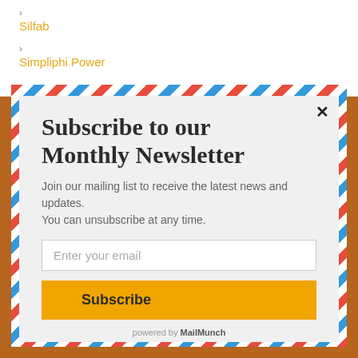Silfab
Simpliphi Power
Subscribe to our Monthly Newsletter
Join our mailing list to receive the latest news and updates.
You can unsubscribe at any time.
Enter your email
Subscribe
powered by MailMunch